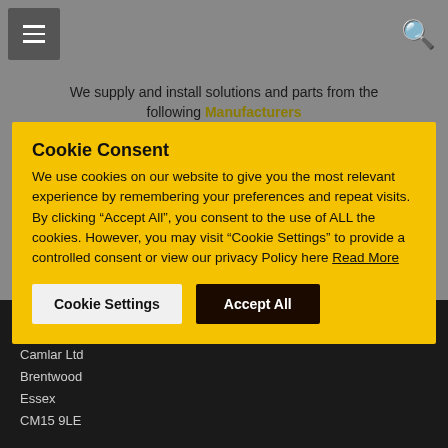Menu | Search
We supply and install solutions and parts from the following Manufacturers
Cookie Consent
We use cookies on our website to give you the most relevant experience by remembering your preferences and repeat visits. By clicking “Accept All”, you consent to the use of ALL the cookies. However, you may visit “Cookie Settings” to provide a controlled consent or view our privacy Policy here Read More
Cookie Settings | Accept All
CONTACT INFO
Camlar Ltd
Brentwood
Essex
CM15 9LE